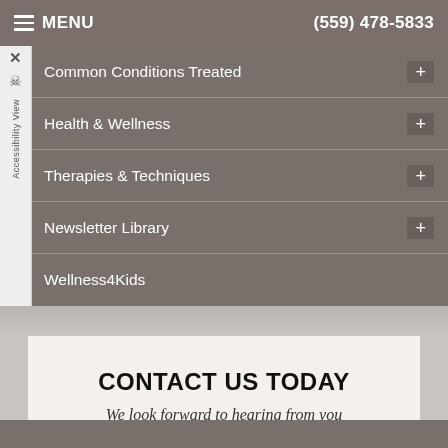MENU | (559) 478-5833
Common Conditions Treated
Health & Wellness
Therapies & Techniques
Newsletter Library
Wellness4Kids
CONTACT US TODAY
We look forward to hearing from you